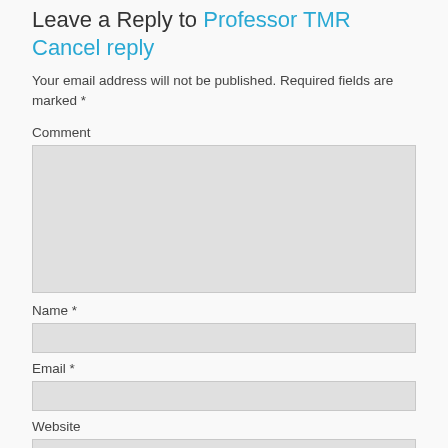Leave a Reply to Professor TMR
Cancel reply
Your email address will not be published. Required fields are marked *
Comment
Name *
Email *
Website